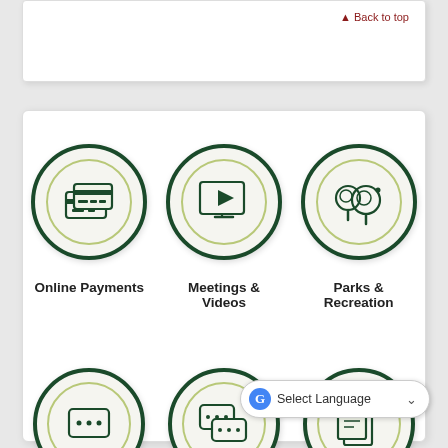▲ Back to top
[Figure (illustration): Three circular icon buttons in a row: Online Payments (credit card icon), Meetings & Videos (video screen icon), Parks & Recreation (trees icon). Each circle has a dark green outer ring and a light olive inner ring on a light background.]
Online Payments
Meetings & Videos
Parks & Recreation
[Figure (illustration): Three partial circular icon buttons at bottom of page: text/chat icon, conversation bubbles icon, document pages icon. Partially cropped.]
Select Language